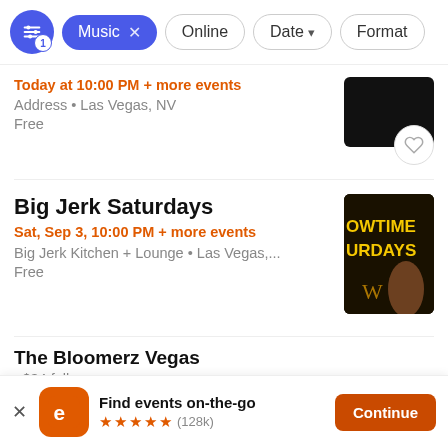[Figure (screenshot): Filter bar with filter icon badge '1', active 'Music x' pill, and grey pills: Online, Date dropdown, Format]
Today at 10:00 PM + more events
Address • Las Vegas, NV
Free
Big Jerk Saturdays
Sat, Sep 3, 10:00 PM + more events
Big Jerk Kitchen + Lounge • Las Vegas,...
Free
The Bloomerz Vegas
Find events on-the-go
★★★★★ (128k)
Continue